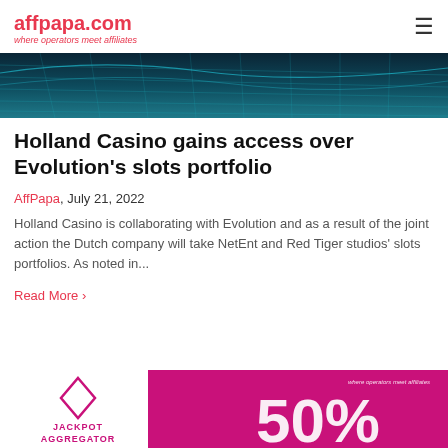affpapa.com — where operators meet affiliates
[Figure (photo): Dark teal/blue grid-patterned hero banner image with wave-like grid lines]
Holland Casino gains access over Evolution's slots portfolio
AffPapa, July 21, 2022
Holland Casino is collaborating with Evolution and as a result of the joint action the Dutch company will take NetEnt and Red Tiger studios' slots portfolios. As noted in...
Read More ›
[Figure (photo): Bottom banner advertisement: left side white with pink diamond icon and JACKPOT AGGREGATOR text; right side hot pink with large 50% text and 'where operators meet affiliates' tagline]